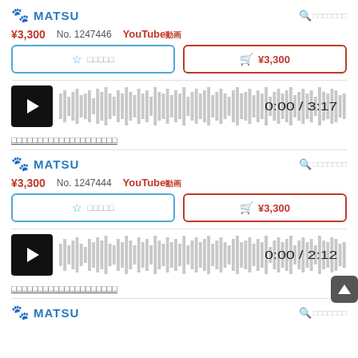MATSU
¥3,300  No. 1247446  YouTube動画
[Figure (screenshot): Favorite button (star icon) and Add to cart button with ¥3,300 price]
[Figure (screenshot): Audio waveform player showing 0:00 / 3:17]
□□□□□□□□□□□□□□□□□□□□
MATSU
¥3,300  No. 1247444  YouTube動画
[Figure (screenshot): Favorite button (star icon) and Add to cart button with ¥3,300 price]
[Figure (screenshot): Audio waveform player showing 0:00 / 2:12]
□□□□□□□□□□□□□□□□□□□□
MATSU